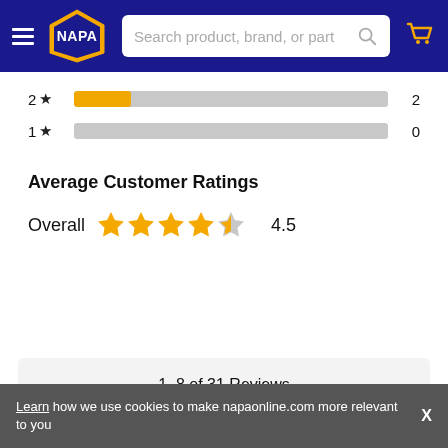[Figure (screenshot): NAPA Auto Parts website header with hamburger menu, NAPA hexagon logo, search bar, and shopping cart icon on dark blue background]
2 ★  2
1 ★  0
Average Customer Ratings
Overall  ★★★★☆  4.5
1–8 of 31 Reviews
Sort by: Most Relevant ▼
Learn how we use cookies to make napaonline.com more relevant to you
X